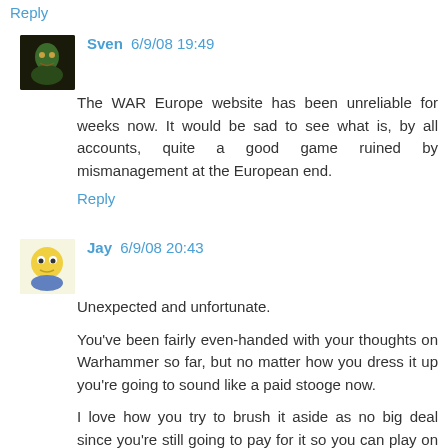Reply
Sven 6/9/08 19:49
The WAR Europe website has been unreliable for weeks now. It would be sad to see what is, by all accounts, quite a good game ruined by mismanagement at the European end.
Reply
Jay 6/9/08 20:43
Unexpected and unfortunate.
You've been fairly even-handed with your thoughts on Warhammer so far, but no matter how you dress it up you're going to sound like a paid stooge now.
I love how you try to brush it aside as no big deal since you're still going to pay for it so you can play on Euro servers.